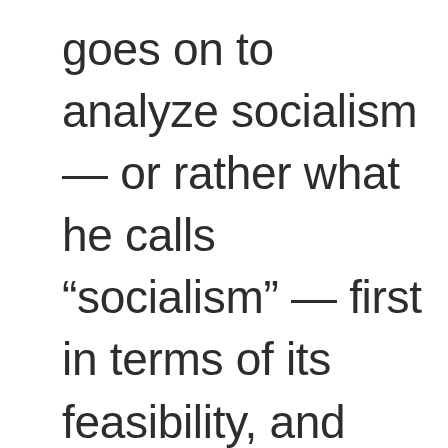goes on to analyze socialism — or rather what he calls “socialism” — first in terms of its feasibility, and